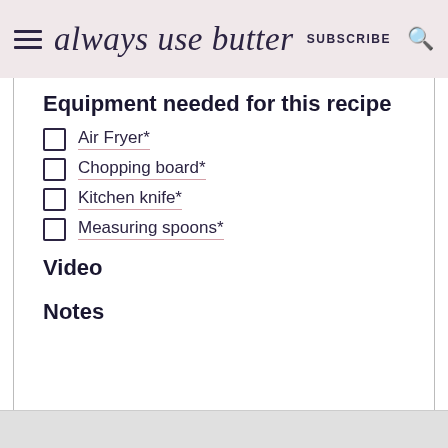always use butter | SUBSCRIBE
Equipment needed for this recipe
Air Fryer*
Chopping board*
Kitchen knife*
Measuring spoons*
Video
Notes